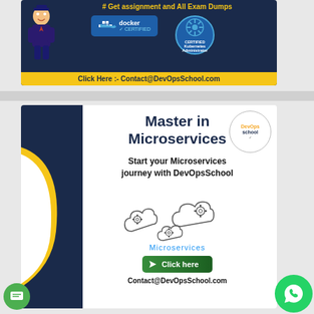[Figure (illustration): Top advertisement banner for DevOpsSchool showing Docker Certified and Certified Kubernetes Administrator badges with text 'Get assignment and All Exam Dumps' and 'Click Here :- Contact@DevOpsSchool.com' at the bottom on yellow background.]
[Figure (illustration): Bottom advertisement for DevOpsSchool Microservices course. Dark blue background with gold curve on left, DevOpsSchool logo circle top right. Title 'Master in Microservices', subtitle 'Start your Microservices journey with DevOpsSchool', cloud icons with gears, 'Microservices' label, green 'Click here' button, and 'Contact@DevOpsSchool.com' text. Green chat and WhatsApp floating buttons.]